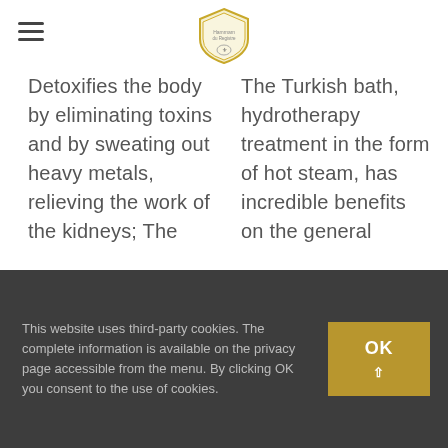[Logo: Hammam de Picenter shield logo with hamburger menu icon]
Detoxifies the body by eliminating toxins and by sweating out heavy metals, relieving the work of the kidneys; The
The Turkish bath, hydrotherapy treatment in the form of hot steam, has incredible benefits on the general
This website uses third-party cookies. The complete information is available on the privacy page accessible from the menu. By clicking OK you consent to the use of cookies.